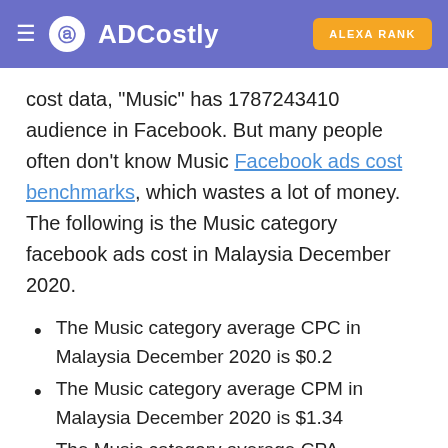ADCostly | ALEXA RANK
cost data, "Music" has 1787243410 audience in Facebook. But many people often don't know Music Facebook ads cost benchmarks, which wastes a lot of money. The following is the Music category facebook ads cost in Malaysia December 2020.
The Music category average CPC in Malaysia December 2020 is $0.2
The Music category average CPM in Malaysia December 2020 is $1.34
The Music category average CPA